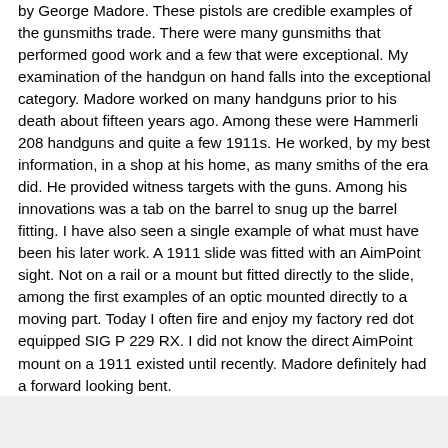by George Madore. These pistols are credible examples of the gunsmiths trade. There were many gunsmiths that performed good work and a few that were exceptional. My examination of the handgun on hand falls into the exceptional category. Madore worked on many handguns prior to his death about fifteen years ago. Among these were Hammerli 208 handguns and quite a few 1911s. He worked, by my best information, in a shop at his home, as many smiths of the era did. He provided witness targets with the guns. Among his innovations was a tab on the barrel to snug up the barrel fitting. I have also seen a single example of what must have been his later work. A 1911 slide was fitted with an AimPoint sight. Not on a rail or a mount but fitted directly to the slide, among the first examples of an optic mounted directly to a moving part. Today I often fire and enjoy my factory red dot equipped SIG P 229 RX. I did not know the direct AimPoint mount on a 1911 existed until recently. Madore definitely had a forward looking bent.